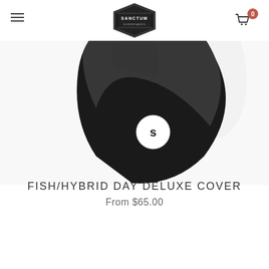Sanctum Surfboards – Navigation header with hamburger menu, logo, and cart
[Figure (photo): Product photo of a black and white fish/hybrid surfboard day deluxe cover against a white background. The cover is black with a white circular Sanctum logo badge. A Sanctum Surfboards diamond logo is overlaid at the top center.]
FISH/HYBRID DAY DELUXE COVER
From $65.00